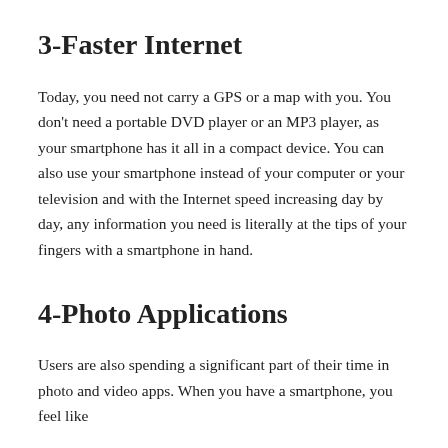3-Faster Internet
Today, you need not carry a GPS or a map with you. You don't need a portable DVD player or an MP3 player, as your smartphone has it all in a compact device. You can also use your smartphone instead of your computer or your television and with the Internet speed increasing day by day, any information you need is literally at the tips of your fingers with a smartphone in hand.
4-Photo Applications
Users are also spending a significant part of their time in photo and video apps. When you have a smartphone, you feel like